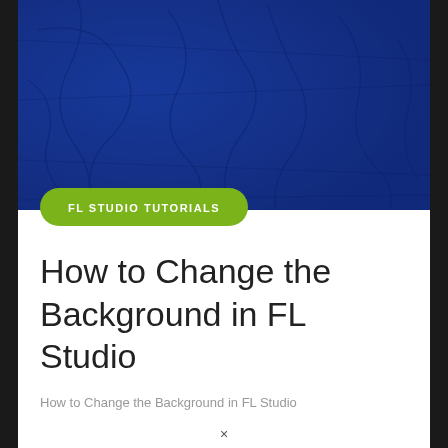[Figure (photo): Dark blue textured background image with brush stroke or fabric-like patterns, used as a hero/banner image at the top of the article page]
FL STUDIO TUTORIALS
How to Change the Background in FL Studio
How to Change the Background in FL Studio